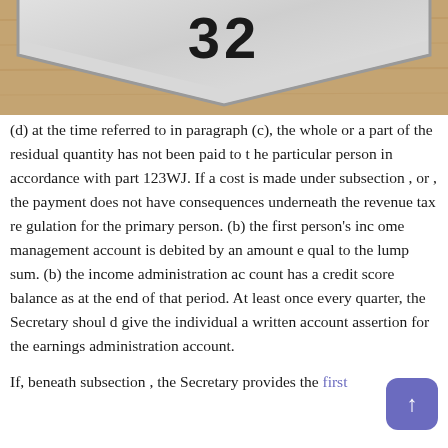[Figure (photo): Photo of a metal diamond-shaped sign with the number 32 on it, resting on a wooden surface. Only the bottom portion of the sign is visible.]
(d) at the time referred to in paragraph (c), the whole or a part of the residual quantity has not been paid to the particular person in accordance with part 123WJ. If a cost is made under subsection , or , the payment does not have consequences underneath the revenue tax regulation for the primary person. (b) the first person's income management account is debited by an amount equal to the lump sum. (b) the income administration account has a credit score balance as at the end of that period. At least once every quarter, the Secretary should give the individual a written account assertion for the earnings administration account.
If, beneath subsection , the Secretary provides the first